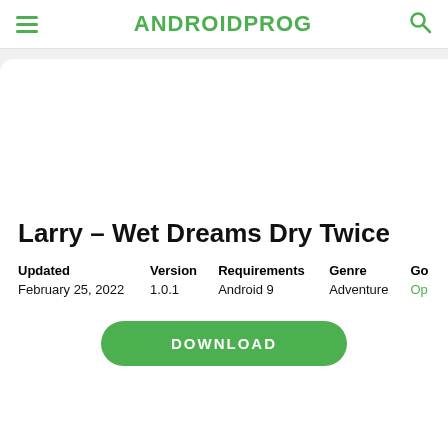ANDROIDPROG
[Figure (illustration): App screenshot or banner image area (white/light grey rectangle)]
Larry – Wet Dreams Dry Twice
| Updated | Version | Requirements | Genre | Go |
| --- | --- | --- | --- | --- |
| February 25, 2022 | 1.0.1 | Android 9 | Adventure | Op |
DOWNLOAD